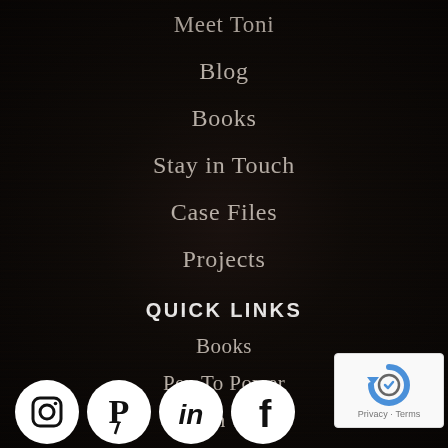Meet Toni
Blog
Books
Stay in Touch
Case Files
Projects
QUICK LINKS
Books
Pen To Power
Stay In Touch
[Figure (logo): Social media icons row: Instagram, Pinterest, LinkedIn, Facebook — white circular icons on dark background]
[Figure (other): reCAPTCHA privacy badge with circular arrow logo and 'Privacy - Terms' text]